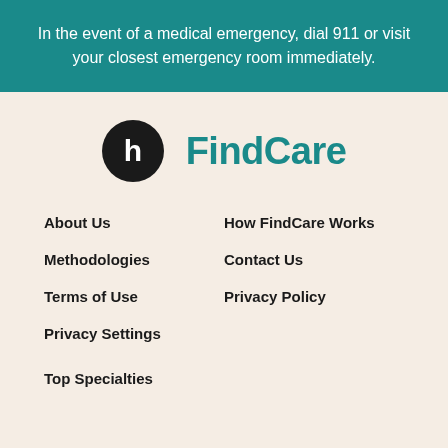In the event of a medical emergency, dial 911 or visit your closest emergency room immediately.
[Figure (logo): Healthline FindCare logo — black circle with white 'h' icon followed by teal 'FindCare' text]
About Us
How FindCare Works
Methodologies
Contact Us
Terms of Use
Privacy Policy
Privacy Settings
Top Specialties